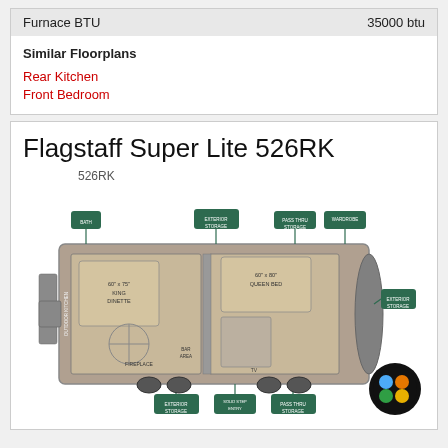| Furnace BTU | 35000 btu |
| --- | --- |
Similar Floorplans
Rear Kitchen
Front Bedroom
Flagstaff Super Lite 526RK
526RK
[Figure (engineering-diagram): Floorplan diagram of the Flagstaff Super Lite 526RK RV, showing top-down layout with labeled rooms including King Dinette, Outdoor Kitchen, Bathroom, Queen Bed, and storage areas with green labels.]